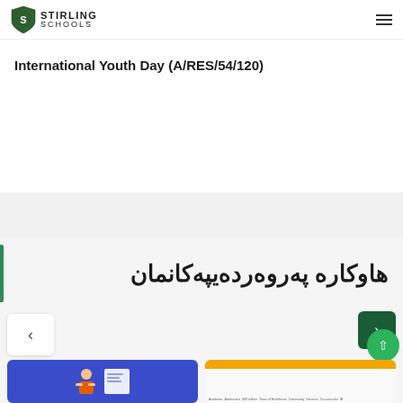STIRLING SCHOOLS
International Youth Day (A/RES/54/120)
هاوکاره پەروەردەیپەکانمان
[Figure (screenshot): Left thumbnail card with blue background showing illustration of person with documents]
[Figure (screenshot): Right thumbnail card with orange top bar and table/chart content below]